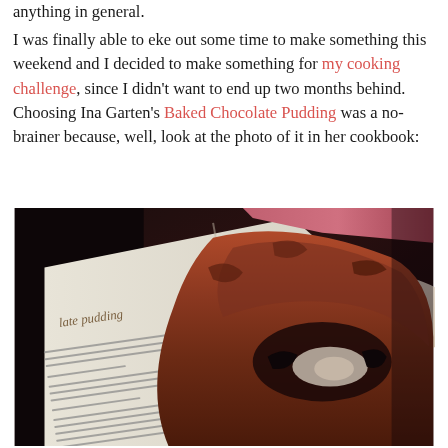anything in general.
I was finally able to eke out some time to make something this weekend and I decided to make something for my cooking challenge, since I didn't want to end up two months behind. Choosing Ina Garten's Baked Chocolate Pudding was a no-brainer because, well, look at the photo of it in her cookbook:
[Figure (photo): An open cookbook showing a recipe for baked chocolate pudding on the left page, with a large close-up photo of the baked chocolate pudding in a white oval dish on the right side. The pudding has a dark chocolatey top with a sunken area revealing a gooey interior. The image has a warm, slightly vintage color tone.]